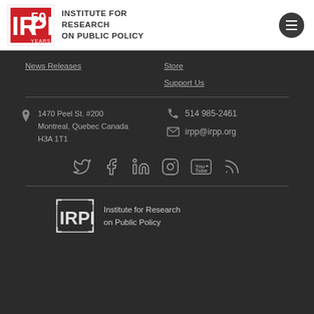[Figure (logo): IRPP 50 Years logo with red background and white text]
INSTITUTE FOR RESEARCH ON PUBLIC POLICY
News Releases
Store
Support Us
1470 Peel St. #200 Montreal, Quebec Canada H3A 1T1
514 985-2461
irpp@irpp.org
[Figure (logo): Social media icons: Twitter, Facebook, LinkedIn, Instagram, YouTube, RSS]
[Figure (logo): IRPP footer logo - Institute for Research on Public Policy]